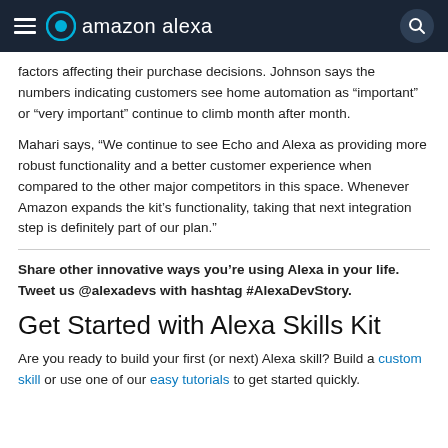amazon alexa
factors affecting their purchase decisions. Johnson says the numbers indicating customers see home automation as “important” or “very important” continue to climb month after month.
Mahari says, “We continue to see Echo and Alexa as providing more robust functionality and a better customer experience when compared to the other major competitors in this space. Whenever Amazon expands the kit’s functionality, taking that next integration step is definitely part of our plan.”
Share other innovative ways you’re using Alexa in your life. Tweet us @alexadevs with hashtag #AlexaDevStory.
Get Started with Alexa Skills Kit
Are you ready to build your first (or next) Alexa skill? Build a custom skill or use one of our easy tutorials to get started quickly.